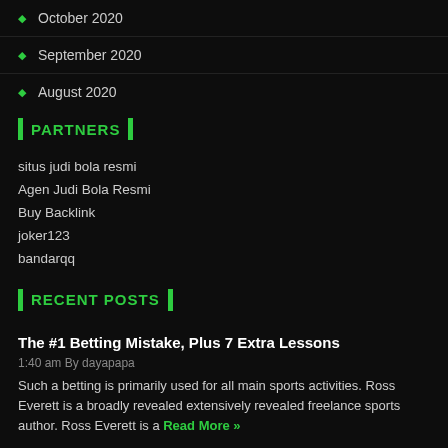October 2020
September 2020
August 2020
PARTNERS
situs judi bola resmi
Agen Judi Bola Resmi
Buy Backlink
joker123
bandarqq
RECENT POSTS
The #1 Betting Mistake, Plus 7 Extra Lessons
1:40 am By dayapapa
Such a betting is primarily used for all main sports activities. Ross Everett is a broadly revealed extensively revealed freelance sports author. Ross Everett is a Read More »